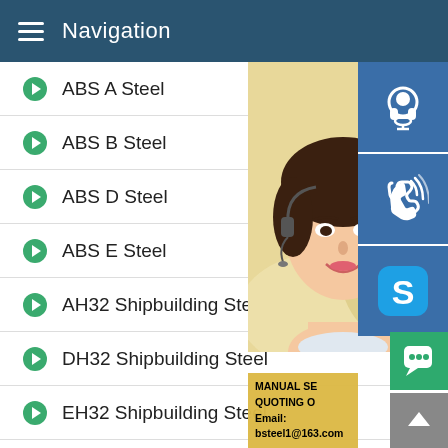Navigation
ABS A Steel
ABS B Steel
ABS D Steel
ABS E Steel
AH32 Shipbuilding Steel
DH32 Shipbuilding Steel
EH32 Shipbuilding Steel
FH32 Shipbuilding Steel
AH36 Shipbuilding Steel
DH36 Shipbuilding Steel
EH36 Shipbuilding Steel
[Figure (screenshot): Customer service representative photo with headset, promotional contact overlay showing MANUAL SE..., QUOTING O..., Email: bsteel1@163.com, and three blue service icon buttons (headset, phone, Skype S logo), plus green chat button and grey top button]